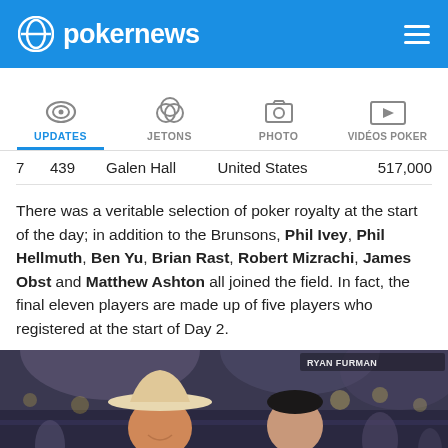pokernews
|  |  | Name | Country | Chips |
| --- | --- | --- | --- | --- |
| 7 | 439 | Galen Hall | United States | 517,000 |
There was a veritable selection of poker royalty at the start of the day; in addition to the Brunsons, Phil Ivey, Phil Hellmuth, Ben Yu, Brian Rast, Robert Mizrachi, James Obst and Matthew Ashton all joined the field. In fact, the final eleven players are made up of five players who registered at the start of Day 2.
[Figure (photo): Two smiling men at a poker tournament, one wearing a white cowboy hat and pink shirt, the other in a dark suit. Crowded casino floor in background. Photo credit: Ryan Furman.]